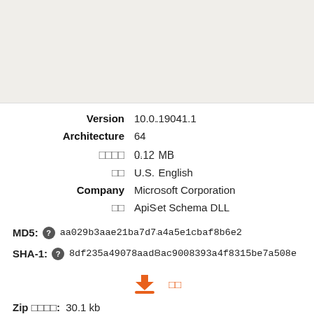[Figure (other): Gray placeholder area at top of page]
Version  10.0.19041.1
Architecture  64
□□□□  0.12 MB
□□  U.S. English
Company  Microsoft Corporation
□□  ApiSet Schema DLL
MD5:  aa029b3aae21ba7d7a4a5e1cbaf8b6e2
SHA-1:  8df235a49078aad8ac9008393a4f8315be7a508e
Zip □□□□:  30.1 kb